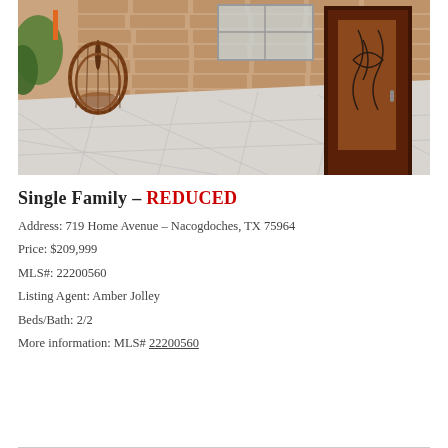[Figure (photo): Exterior photo of a brick home showing a covered patio with geometric tile flooring, a hanging rattan egg chair on the left, and a decorative dark wood and glass front door on the right.]
Single Family – REDUCED
Address: 719 Home Avenue – Nacogdoches, TX 75964
Price: $209,999
MLS#: 22200560
Listing Agent: Amber Jolley
Beds/Bath: 2/2
More information: MLS# 22200560